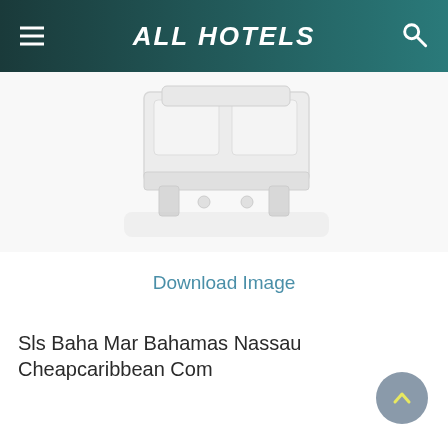ALL HOTELS
[Figure (photo): Partial view of a white hotel bed/furniture illustration on light background, cropped at top]
Download Image
Sls Baha Mar Bahamas Nassau Cheapcaribbean Com